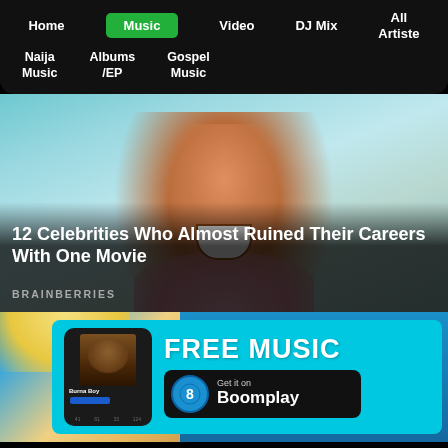Home | Music | Video | DJ Mix | All Artiste
Naija Music | Albums /EP | Gospel Music
[Figure (photo): Celebrity man screaming/laughing with mouth wide open, wearing a pink/light shirt, blue-teal wave background]
12 Celebrities Who Almost Ruined Their Careers With One Movie
BRAINBERRIES
[Figure (screenshot): Boomplay music app advertisement banner. Shows a phone mockup with Burna Boy artist card, and text: FREE MUSIC - Get it on Boomplay]